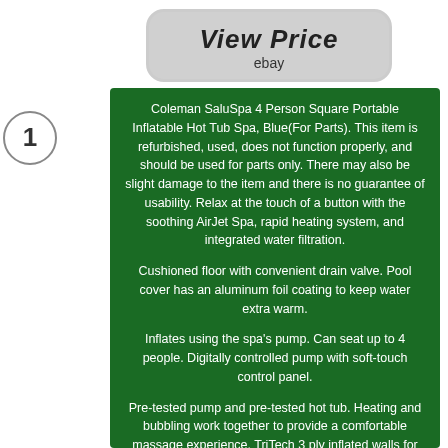[Figure (other): View Price button with eBay branding]
[Figure (other): Circle with number 1]
Coleman SaluSpa 4 Person Square Portable Inflatable Hot Tub Spa, Blue(For Parts). This item is refurbished, used, does not function properly, and should be used for parts only. There may also be slight damage to the item and there is no guarantee of usability. Relax at the touch of a button with the soothing AirJet Spa, rapid heating system, and integrated water filtration.
Cushioned floor with convenient drain valve. Pool cover has an aluminum foil coating to keep water extra warm.
Inflates using the spa's pump. Can seat up to 4 people. Digitally controlled pump with soft-touch control panel.
Pre-tested pump and pre-tested hot tub. Heating and bubbling work together to provide a comfortable massage experience. TriTech 3 ply inflated walls for durability and comfort.